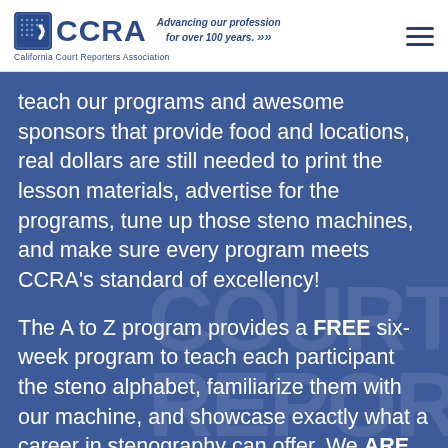CCRA - California Court Reporters Association — Advancing our profession for over 100 years.
teach our programs and awesome sponsors that provide food and locations, real dollars are still needed to print the lesson materials, advertise for the programs, tune up those steno machines, and make sure every program meets CCRA's standard of excellency!
The A to Z program provides a FREE six-week program to teach each participant the steno alphabet, familiarize them with our machine, and showcase exactly what a career in stenography can offer. We ARE making a difference. We ARE increasing steno enrollment statewide. No matter